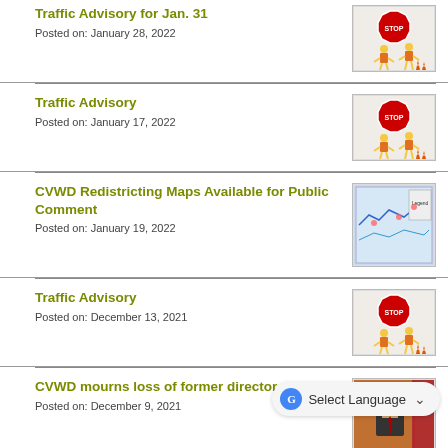Traffic Advisory for Jan. 31
Posted on: January 28, 2022
[Figure (illustration): Cartoon construction worker figures with a STOP sign and traffic cones]
Traffic Advisory
Posted on: January 17, 2022
[Figure (illustration): Cartoon construction worker figures with a STOP sign and traffic cones]
CVWD Redistricting Maps Available for Public Comment
Posted on: January 19, 2022
[Figure (map): Screenshot of a redistricting map]
Traffic Advisory
Posted on: December 13, 2021
[Figure (illustration): Cartoon construction worker figures with a STOP sign and traffic cones]
CVWD mourns loss of former director
Posted on: December 9, 2021
[Figure (photo): Photo of a man in a suit with an American flag in the background]
CVWD adopts groundwater management